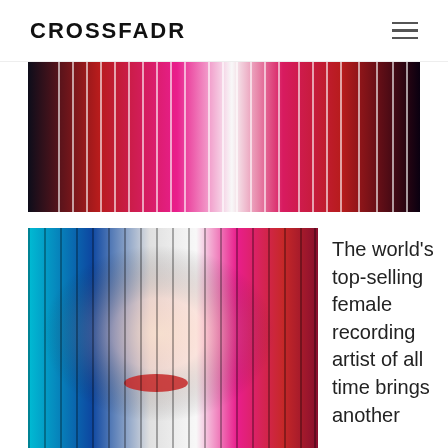CROSSFADR
[Figure (photo): Abstract artistic banner image with colorful overlapping stripes in red, pink, black and white — appears to be a music artist promotional image with barcode-like vertical stripe overlay]
[Figure (photo): Portrait of a female music artist (Madonna) with colorful artistic treatment showing multiple color-split versions in teal, blue, black/white, and pink/red, with vertical stripe overlay effect]
The world's top-selling female recording artist of all time brings another